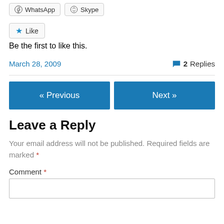[Figure (screenshot): Share via WhatsApp and Skype buttons]
[Figure (screenshot): Like button with star icon]
Be the first to like this.
March 28, 2009
2 Replies
[Figure (screenshot): Previous and Next navigation buttons]
Leave a Reply
Your email address will not be published. Required fields are marked *
Comment *
[Figure (screenshot): Comment text area input box]